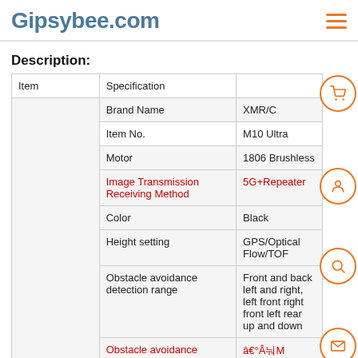Gipsybee.com
Description:
| Item | Specification |  |
| --- | --- | --- |
|  | Brand Name | XMR/C |
|  | Item No. | M10 Ultra |
|  | Motor | 1806 Brushless |
|  | Image Transmission Receiving Method | 5G+Repeater |
|  | Color | Black |
|  | Height setting | GPS/Optical Flow/TOF |
|  | Obstacle avoidance detection range | Front and back left and right, left front right front left rear up and down |
|  | Obstacle avoidance detection range | ≥20M |
|  | Wind Resistance | Level 7 |
|  | Camera | 4K HD Camera |
|  | Adjustable Camera Lens | Max 110° |
|  |  | 45° Transverse |